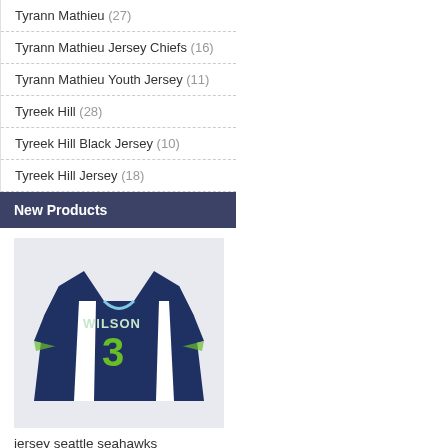Tyrann Mathieu (27)
Tyrann Mathieu Jersey Chiefs (16)
Tyrann Mathieu Youth Jersey (11)
Tyreek Hill (28)
Tyreek Hill Black Jersey (10)
Tyreek Hill Jersey (18)
New Products
[Figure (photo): Seattle Seahawks navy blue football jersey with number 3 and WILSON name on the back]
jersey seattle seahawks
£46.00  £26.00
Save: 43% off
Sold: